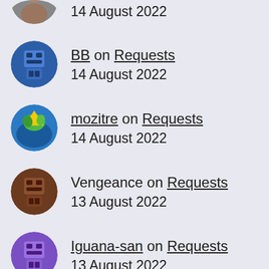14 August 2022
BB on Requests
14 August 2022
mozitre on Requests
14 August 2022
Vengeance on Requests
13 August 2022
Iguana-san on Requests
13 August 2022
dean on Requests